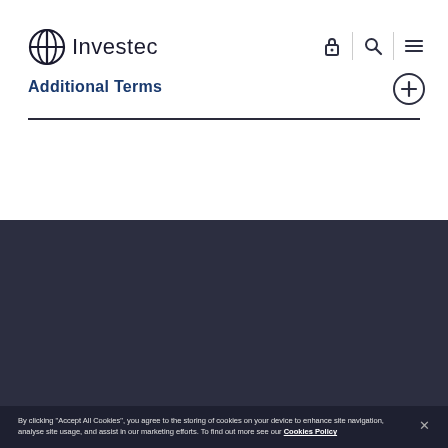Investec
Additional Terms
Accessibility
Legal
Know fraud
By clicking “Accept All Cookies”, you agree to the storing of cookies on your device to enhance site navigation, analyse site usage, and assist in our marketing efforts. To find out more see our Cookies Policy